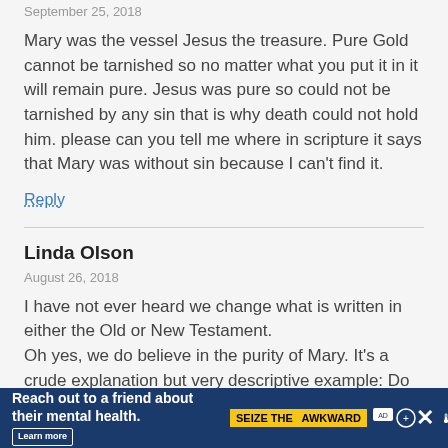September 25, 2018
Mary was the vessel Jesus the treasure. Pure Gold cannot be tarnished so no matter what you put it in it will remain pure. Jesus was pure so could not be tarnished by any sin that is why death could not hold him. please can you tell me where in scripture it says that Mary was without sin because I can’t find it.
Reply
Linda Olson
August 26, 2018
I have not ever heard we change what is written in either the Old or New Testament.
Oh yes, we do believe in the purity of Mary. It’s a crude explanation but very descriptive example: Do you really
[Figure (infographic): Advertisement banner: blue background with text 'Reach out to a friend about their mental health. Learn more' and 'SEIZE THE AWKWARD' badge with icons and a close button.]